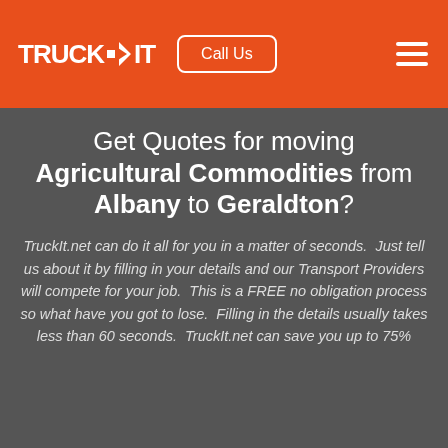TRUCKIT  Call Us
Get Quotes for moving Agricultural Commodities from Albany to Geraldton?
TruckIt.net can do it all for you in a matter of seconds.  Just tell us about it by filling in your details and our Transport Providers will compete for your job.  This is a FREE no obligation process so what have you got to lose.  Filling in the details usually takes less than 60 seconds.  TruckIt.net can save you up to 75%